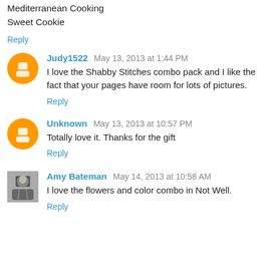Mediterranean Cooking
Sweet Cookie
Reply
Judy1522  May 13, 2013 at 1:44 PM
I love the Shabby Stitches combo pack and I like the fact that your pages have room for lots of pictures.
Reply
Unknown  May 13, 2013 at 10:57 PM
Totally love it. Thanks for the gift
Reply
Amy Bateman  May 14, 2013 at 10:58 AM
I love the flowers and color combo in Not Well.
Reply